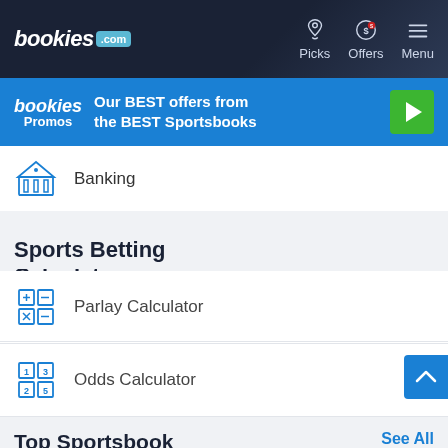bookies.com — Picks | Offers | Menu
[Figure (screenshot): Bookies Promos banner: Our BEST offers from the BEST Sportsbooks with green play button]
Banking
Sports Betting Calculators
Parlay Calculator
Odds Calculator
Top Sportsbook
See All